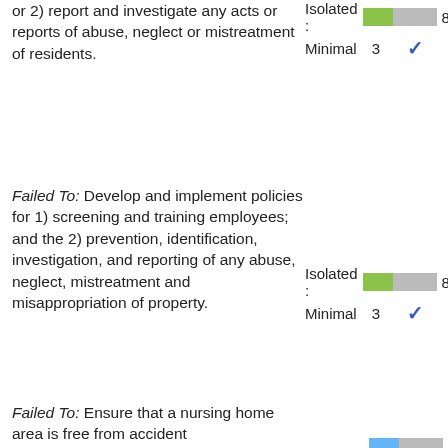or 2) report and investigate any acts or reports of abuse, neglect or mistreatment of residents.
Isolated : 8/15/2016 Minimal 3 ✓
Failed To: Develop and implement policies for 1) screening and training employees; and the 2) prevention, identification, investigation, and reporting of any abuse, neglect, mistreatment and misappropriation of property.
Isolated : 8/15/2016 Minimal 3 ✓
Failed To: Ensure that a nursing home area is free from accident